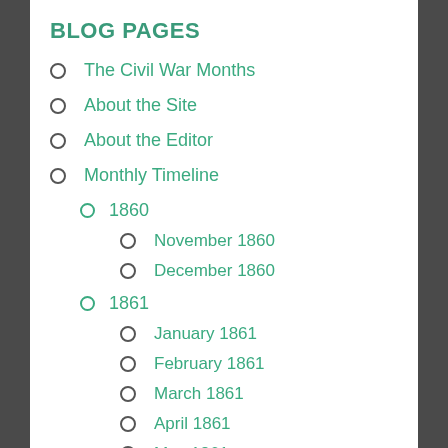BLOG PAGES
The Civil War Months
About the Site
About the Editor
Monthly Timeline
1860
November 1860
December 1860
1861
January 1861
February 1861
March 1861
April 1861
May 1861